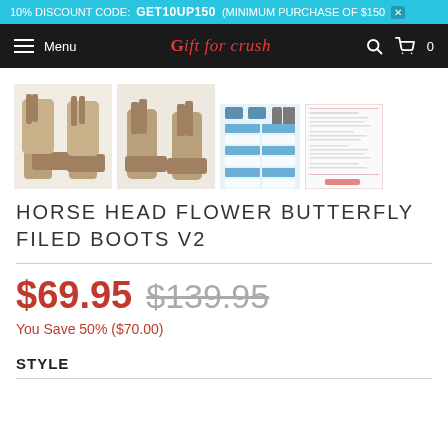10% DISCOUNT CODE: GET10UP150 (MINIMUM PURCHASE OF $150)
Menu | Gift for crush | 0
[Figure (photo): Product photos of Horse Head Flower Butterfly Filed Boots V2: two angled views of tan/brown lace-up boots, a size chart with blue grid, and a product specification card.]
HORSE HEAD FLOWER BUTTERFLY FILED BOOTS V2
$69.95  $139.95
You Save 50% ($70.00)
STYLE